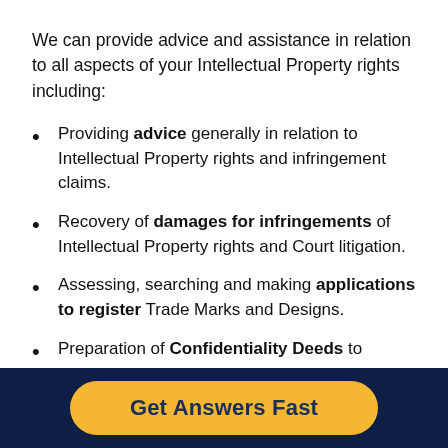We can provide advice and assistance in relation to all aspects of your Intellectual Property rights including:
Providing advice generally in relation to Intellectual Property rights and infringement claims.
Recovery of damages for infringements of Intellectual Property rights and Court litigation.
Assessing, searching and making applications to register Trade Marks and Designs.
Preparation of Confidentiality Deeds to
Get Answers Fast